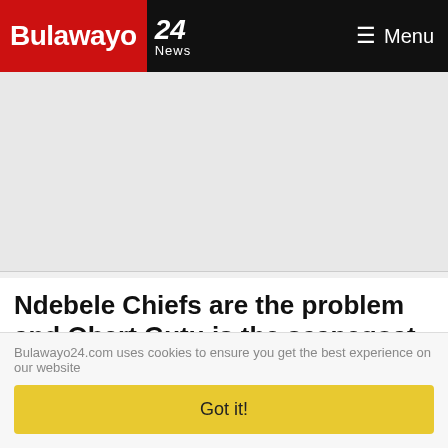Bulawayo 24 News — Menu
Ndebele Chiefs are the problem and Obert Gutu is the scapegoat
As far as I can remember, our Chiefs have been a problem since this country was colonized by "those without knees", the British colonial master. During the colonial times, the
Bulawayo24.com uses cookies to ensure you get the best experience on our website
Got it!